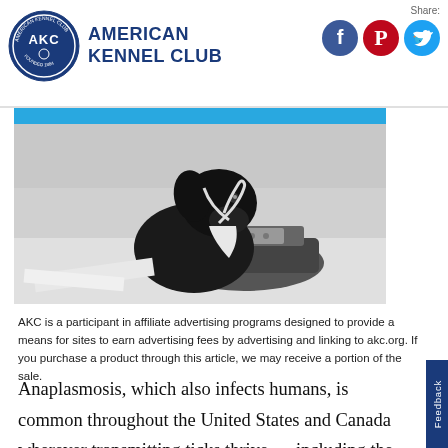American Kennel Club
Share:
[Figure (photo): Black Labrador puppy chewing on shoelaces of a sneaker, black and white photo with blue header bar]
AKC is a participant in affiliate advertising programs designed to provide a means for sites to earn advertising fees by advertising and linking to akc.org. If you purchase a product through this article, we may receive a portion of the sale.
Anaplasmosis, which also infects humans, is common throughout the United States and Canada wherever transmitting ticks thrive — including the Gulf states, California, and the upper Midwest, North-East, Mid-Atlantic,